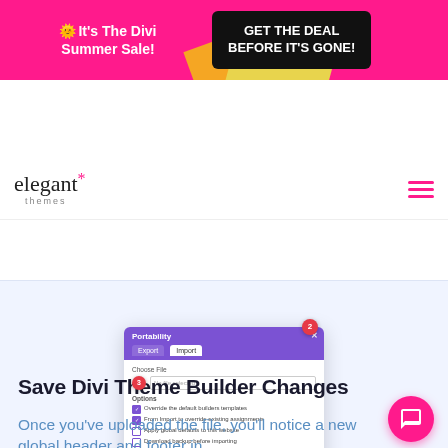[Figure (screenshot): Promotional banner: pink background with 'It's The Divi Summer Sale!' in white bold text on left, and black box with 'GET THE DEAL BEFORE IT'S GONE!' on right]
[Figure (logo): Elegant Themes logo with asterisk star in pink and hamburger menu icon]
[Figure (screenshot): Divi Theme Builder Portability dialog with Import tab selected, numbered steps 2, 3, 4 with file chooser and options checkboxes]
Save Divi Theme Builder Changes
Once you’ve uploaded the file, you’ll notice a new global header and footer in